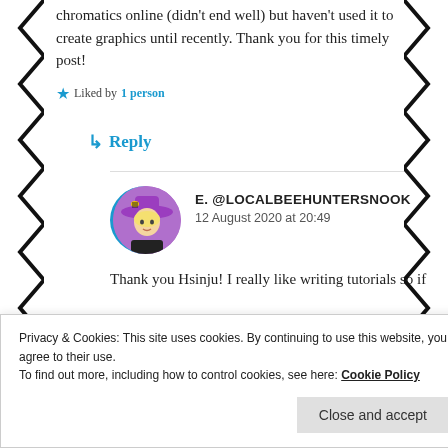chromatics online (didn't end well) but haven't used it to create graphics until recently. Thank you for this timely post!
Liked by 1 person
↳ Reply
E. @LOCALBEEHUNTERSNOOK
12 August 2020 at 20:49
Thank you Hsinju! I really like writing tutorials so if
↳ Reply
Privacy & Cookies: This site uses cookies. By continuing to use this website, you agree to their use.
To find out more, including how to control cookies, see here: Cookie Policy
Close and accept